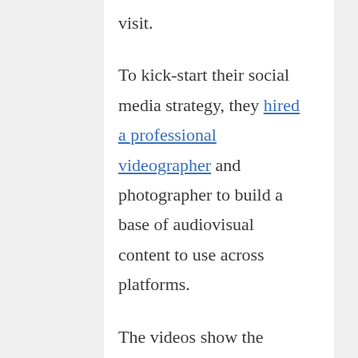visit.
To kick-start their social media strategy, they hired a professional videographer and photographer to build a base of audiovisual content to use across platforms.
The videos show the genuine beauty of the region and the potential to explore and learn about the local ecosystem. The co-founders tell their stories, and